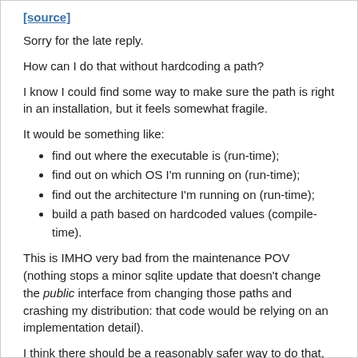[source]
Sorry for the late reply.
How can I do that without hardcoding a path?
I know I could find some way to make sure the path is right in an installation, but it feels somewhat fragile.
It would be something like:
find out where the executable is (run-time);
find out on which OS I'm running on (run-time);
find out the architecture I'm running on (run-time);
build a path based on hardcoded values (compile-time).
This is IMHO very bad from the maintenance POV (nothing stops a minor sqlite update that doesn't change the public interface from changing those paths and crashing my distribution: that code would be relying on an implementation detail).
I think there should be a reasonably safer way to do that, otherwise, those extensions are mostly useless.
Reply